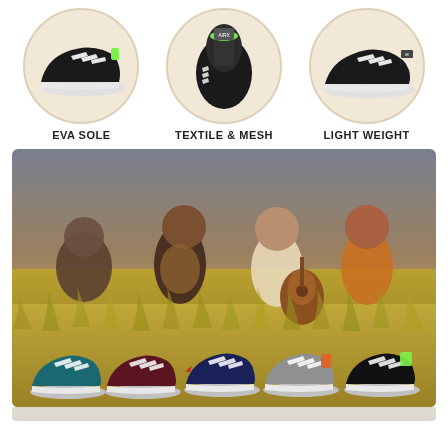[Figure (photo): Three circular close-up photos of black sports shoes highlighting EVA sole, textile & mesh upper, and lightweight construction]
EVA SOLE
TEXTILE & MESH
LIGHT WEIGHT
[Figure (photo): Children sitting in a grassy field, one holding a guitar, with five colorful kids sports shoes displayed in front: teal, maroon, navy/red, grey/orange, black/green]